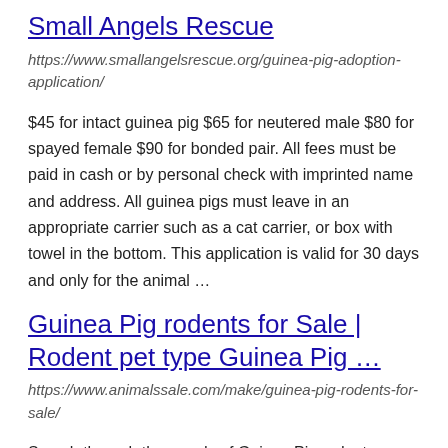Small Angels Rescue
https://www.smallangelsrescue.org/guinea-pig-adoption-application/
$45 for intact guinea pig $65 for neutered male $80 for spayed female $90 for bonded pair. All fees must be paid in cash or by personal check with imprinted name and address. All guinea pigs must leave in an appropriate carrier such as a cat carrier, or box with towel in the bottom. This application is valid for 30 days and only for the animal …
Guinea Pig rodents for Sale | Rodent pet type Guinea Pig …
https://www.animalssale.com/make/guinea-pig-rodents-for-sale/
Search through thousands of Guinea Pig rodents adverts in the